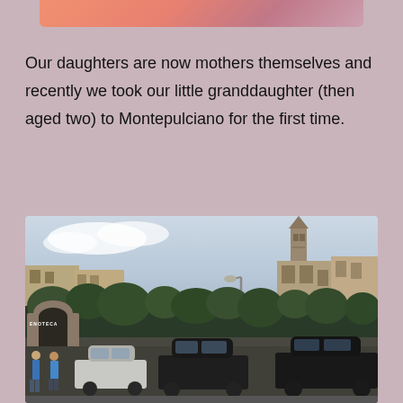[Figure (photo): Partial top image with warm sunset/gradient colors visible at top of page]
Our daughters are now mothers themselves and recently we took our little granddaughter (then aged two) to Montepulciano for the first time.
[Figure (photo): Photograph of Montepulciano, Italy, showing a town square parking area with cars in the foreground, trees and historic stone buildings in the middle ground, a church bell tower visible on the right side, and a cloudy sky above. People walking near left side. An archway/tunnel entrance visible on the lower left.]